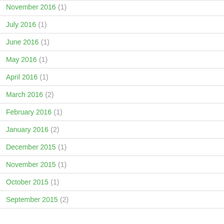November 2016 (1)
July 2016 (1)
June 2016 (1)
May 2016 (1)
April 2016 (1)
March 2016 (2)
February 2016 (1)
January 2016 (2)
December 2015 (1)
November 2015 (1)
October 2015 (1)
September 2015 (2)